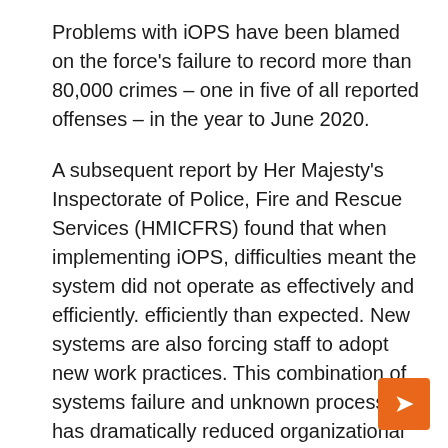Problems with iOPS have been blamed on the force's failure to record more than 80,000 crimes – one in five of all reported offenses – in the year to June 2020.
A subsequent report by Her Majesty's Inspectorate of Police, Fire and Rescue Services (HMICFRS) found that when implementing iOPS, difficulties meant the system did not operate as effectively and efficiently. efficiently than expected. New systems are also forcing staff to adopt new work practices. This combination of systems failure and unknown processes has dramatically reduced organizational and individual productivity.